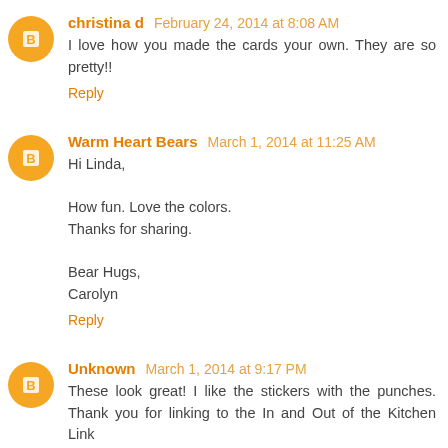christina d February 24, 2014 at 8:08 AM
I love how you made the cards your own. They are so pretty!!
Reply
Warm Heart Bears March 1, 2014 at 11:25 AM
Hi Linda,

How fun. Love the colors.
Thanks for sharing.

Bear Hugs,
Carolyn
Reply
Unknown March 1, 2014 at 9:17 PM
These look great! I like the stickers with the punches. Thank you for linking to the In and Out of the Kitchen Link